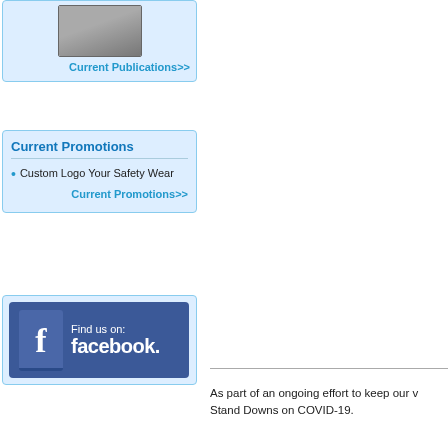[Figure (other): Current Publications box with a book/publication thumbnail image and a link 'Current Publications>>']
Current Promotions
Custom Logo Your Safety Wear
Current Promotions>>
[Figure (logo): Find us on: facebook. logo banner with Facebook 'f' icon on blue background]
As part of an ongoing effort to keep our w Stand Downs on COVID-19.